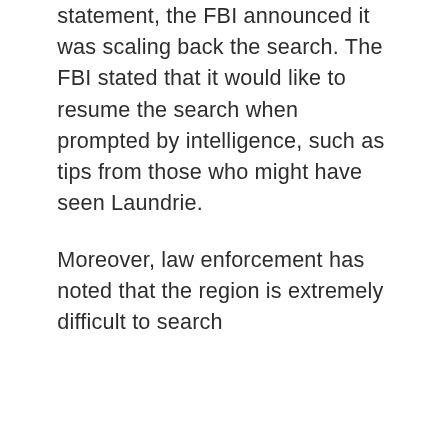statement, the FBI announced it was scaling back the search. The FBI stated that it would like to resume the search when prompted by intelligence, such as tips from those who might have seen Laundrie.
Moreover, law enforcement has noted that the region is extremely difficult to search